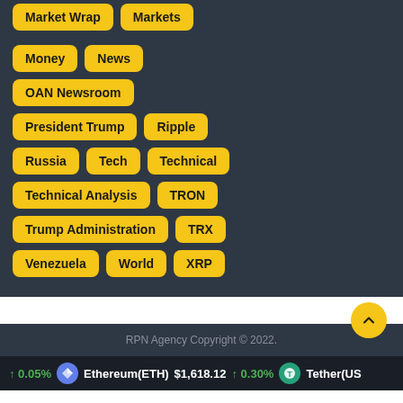Money
News
OAN Newsroom
President Trump
Ripple
Russia
Tech
Technical
Technical Analysis
TRON
Trump Administration
TRX
Venezuela
World
XRP
RPN Agency Copyright © 2022.
↑ 0.05%  Ethereum(ETH) $1,618.12 ↑ 0.30%  Tether(US